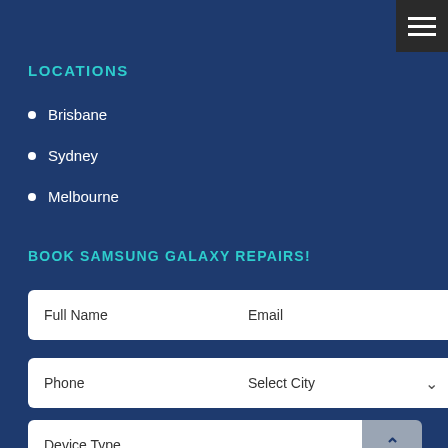LOCATIONS
Brisbane
Sydney
Melbourne
BOOK SAMSUNG GALAXY REPAIRS!
Full Name
Email
Phone
Select City
Device Type